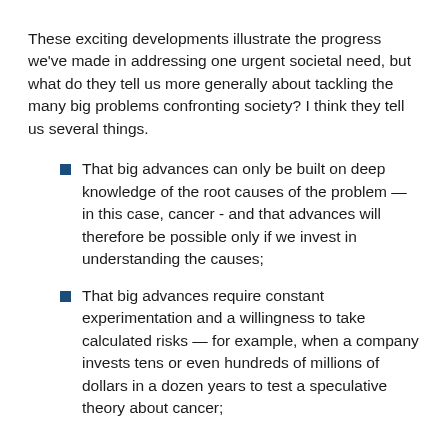These exciting developments illustrate the progress we've made in addressing one urgent societal need, but what do they tell us more generally about tackling the many big problems confronting society? I think they tell us several things.
That big advances can only be built on deep knowledge of the root causes of the problem — in this case, cancer - and that advances will therefore be possible only if we invest in understanding the causes;
That big advances require constant experimentation and a willingness to take calculated risks — for example, when a company invests tens or even hundreds of millions of dollars in a dozen years to test a speculative theory about cancer;